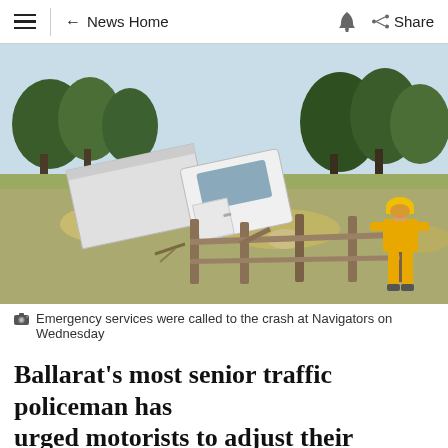≡ ← News Home 🔔 Share
[Figure (photo): A white truck that has crashed through a wooden fence into a grassy paddock. An emergency services worker in yellow high-visibility clothing and a hard hat stands in the background on the right.]
Emergency services were called to the crash at Navigators on Wednesday
Ballarat's most senior traffic policeman has urged motorists to adjust their driving as